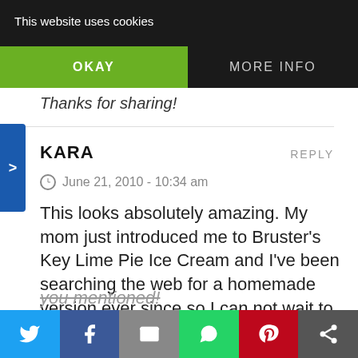This website uses cookies | OKAY | MORE INFO
Thanks for sharing!
KARA
June 21, 2010 - 10:34 am
This looks absolutely amazing. My mom just introduced me to Bruster's Key Lime Pie Ice Cream and I've been searching the web for a homemade version ever since so I can not wait to try this.
Too bad I didn't find you until just after Father's Day because I have one of those ice-cream LOVING dads you mentioned!
Twitter | Facebook | Email | WhatsApp | Pinterest | More